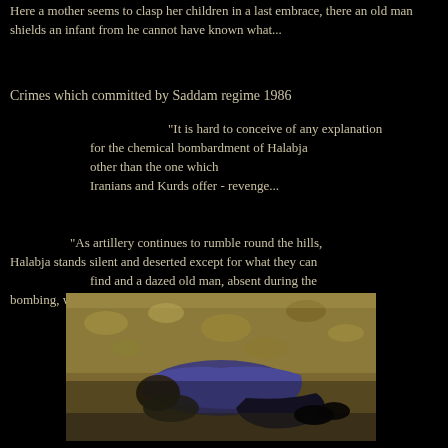Here a mother seems to clasp her children in a last embrace, there an old man shields an infant from he cannot have known what...
Crimes which committed by Saddam regime 1986
"It is hard to conceive of any explanation for the chemical bombardment of Halabja other than the one which Iranians and Kurds offer - revenge...
"As artillery continues to rumble round the hills, Halabja stands silent and deserted except for what they can   find and a dazed old man, absent during the bombing, who has come back in search of his family..."
[Figure (photo): Photograph showing victims of the Halabja chemical attack, bodies on the ground]